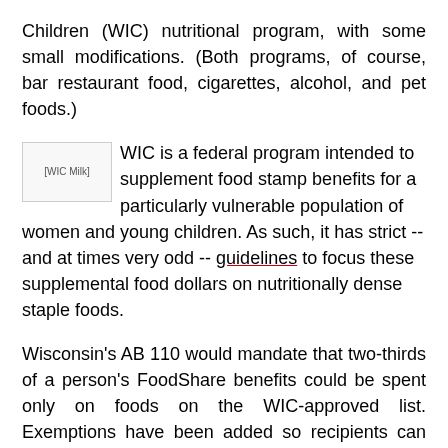Children (WIC) nutritional program, with some small modifications. (Both programs, of course, bar restaurant food, cigarettes, alcohol, and pet foods.)
[Figure (photo): WIC Milk image placeholder]
WIC is a federal program intended to supplement food stamp benefits for a particularly vulnerable population of women and young children. As such, it has strict -- and at times very odd -- guidelines to focus these supplemental food dollars on nutritionally dense staple foods.
Wisconsin's AB 110 would mandate that two-thirds of a person's FoodShare benefits could be spent only on foods on the WIC-approved list. Exemptions have been added so recipients can also purchase fish, beef, pork, chicken, and potatoes. Strangely, exemptions were not added so that the "healthy" two-thirds could also be spent on a full range of healthy